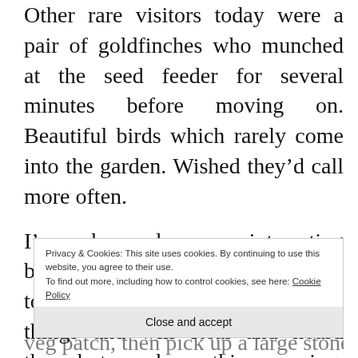Other rare visitors today were a pair of goldfinches who munched at the seed feeder for several minutes before moving on. Beautiful birds which rarely come into the garden. Wished they'd call more often.
I've observed some interesting behaviour from the magpies too today. I know they like shiny things and will steal and hoard them but one here this morning has been taking large b... l b... l b... e
Privacy & Cookies: This site uses cookies. By continuing to use this website, you agree to their use. To find out more, including how to control cookies, see here: Cookie Policy
Close and accept
veg patch, then pick up a large stone and drop it